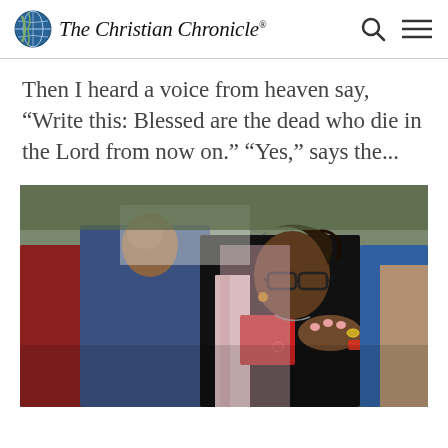The Christian Chronicle
Then I heard a voice from heaven say, “Write this: Blessed are the dead who die in the Lord from now on.” “Yes,” says the...
[Figure (photo): A woman wearing glasses and a black and red outfit with a hand placed on her shoulder, emotional expression, surrounded by other people in an outdoor setting.]